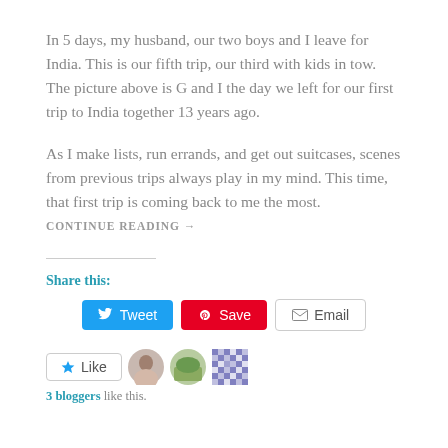In 5 days, my husband, our two boys and I leave for India. This is our fifth trip, our third with kids in tow. The picture above is G and I the day we left for our first trip to India together 13 years ago.
As I make lists, run errands, and get out suitcases, scenes from previous trips always play in my mind. This time, that first trip is coming back to me the most.
CONTINUE READING →
Share this:
[Figure (other): Social share buttons: Tweet (Twitter/blue), Save (Pinterest/red), Email (grey outlined)]
[Figure (other): Like button with star icon, three blogger avatar images, and text '3 bloggers like this.']